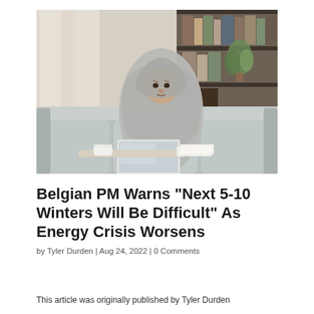[Figure (photo): Woman wrapped in a gray blanket sitting on a couch, working on a laptop, looking cold. Room has bookshelves in the background with plants and books.]
Belgian PM Warns “Next 5-10 Winters Will Be Difficult” As Energy Crisis Worsens
by Tyler Durden | Aug 24, 2022 | 0 Comments
This article was originally published by Tyler Durden